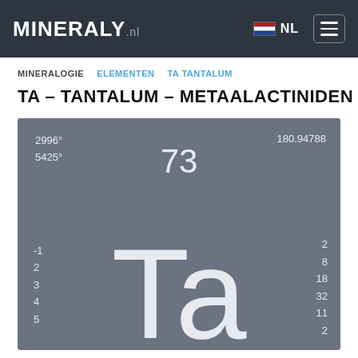MINERALY.nl
NL
MINERALOGIE  ELEMENTEN  TA TANTALUM
TA – TANTALUM – METAALACTINIDEN
[Figure (other): Periodic table element card for Tantalum (Ta), atomic number 73, atomic mass 180.94788, melting point 2996°, boiling point 5425°, oxidation states -1, 2, 3, 4, 5, electron configuration 2, 8, 18, 32, 11, 2]